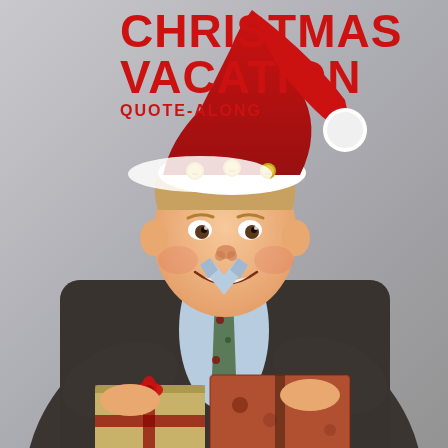[Figure (illustration): Man wearing a Santa hat and dark cardigan sweater over a light blue dress shirt with a Christmas-themed tie, holding wrapped Christmas presents, smiling, against a gray background]
CHRISTMAS VACATION QUOTE-ALONG